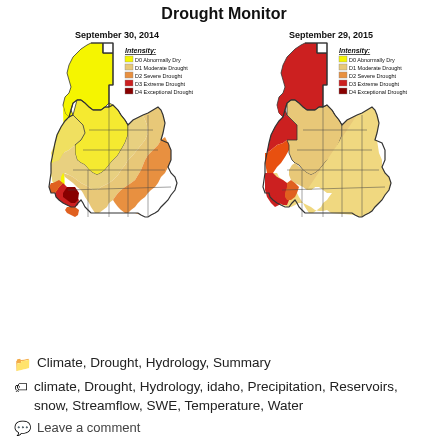Drought Monitor
[Figure (map): Side-by-side Idaho Drought Monitor maps comparing September 30, 2014 and September 29, 2015. Both maps show drought intensity using color coding: D0 Abnormally Dry (yellow), D1 Moderate Drought (light orange/tan), D2 Severe Drought (orange), D3 Extreme Drought (red), D4 Exceptional Drought (dark red). The 2014 map shows mostly D0-D1 conditions with a small D3/D4 area in southwest Idaho. The 2015 map shows severe worsening with D3 Extreme Drought covering northern Idaho and a large D3 area in southwest Idaho.]
Climate, Drought, Hydrology, Summary
climate, Drought, Hydrology, idaho, Precipitation, Reservoirs, snow, Streamflow, SWE, Temperature, Water
Leave a comment